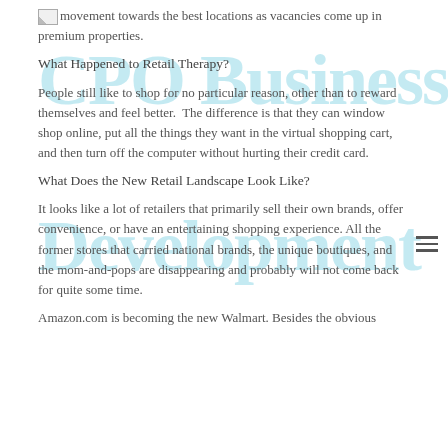movement towards the best locations as vacancies come up in premium properties.
What Happened to Retail Therapy?
People still like to shop for no particular reason, other than to reward themselves and feel better.  The difference is that they can window shop online, put all the things they want in the virtual shopping cart, and then turn off the computer without hurting their credit card.
What Does the New Retail Landscape Look Like?
It looks like a lot of retailers that primarily sell their own brands, offer convenience, or have an entertaining shopping experience. All the former stores that carried national brands, the unique boutiques, and the mom-and-pops are disappearing and probably will not come back for quite some time.
Amazon.com is becoming the new Walmart. Besides the obvious